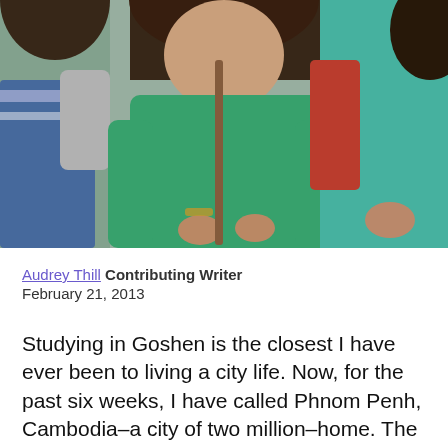[Figure (photo): Photo of people, a woman in a green t-shirt is prominent in the center holding something, flanked by other people. Outdoor setting.]
Audrey Thill Contributing Writer
February 21, 2013
Studying in Goshen is the closest I have ever been to living a city life. Now, for the past six weeks, I have called Phnom Penh, Cambodia–a city of two million–home. The transition into living here is something I